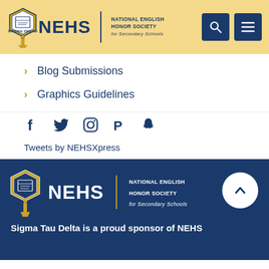[Figure (logo): NEHS - National English Honor Society for Secondary Schools logo with emblem, search icon and menu icon in gold header]
Blog Submissions
Graphics Guidelines
[Figure (infographic): Social media icons: Facebook, Twitter, Instagram, Pinterest, Snapchat in navy blue]
Tweets by NEHSXpress
[Figure (logo): NEHS footer logo - National English Honor Society for Secondary Schools on dark navy background with scroll-to-top button]
Sigma Tau Delta is a proud sponsor of NEHS